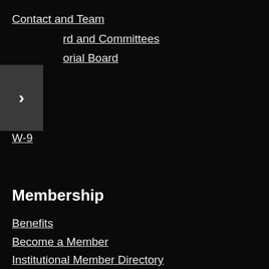Contact and Team
rd and Committees
orial Board
W-9
Membership
Benefits
Become a Member
Institutional Member Directory
Instructor Resources
Sample Syllabi
Sample Rubrics